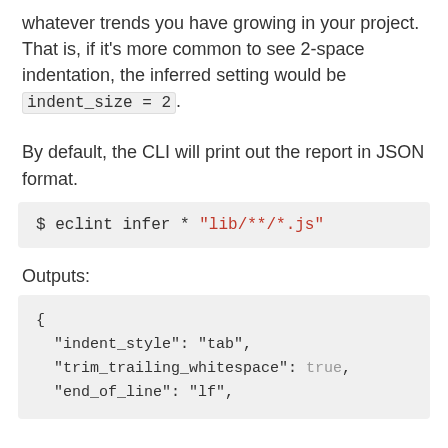whatever trends you have growing in your project. That is, if it's more common to see 2-space indentation, the inferred setting would be indent_size = 2.
By default, the CLI will print out the report in JSON format.
$ eclint infer * "lib/**/*.js"
Outputs:
{
  "indent_style": "tab",
  "trim_trailing_whitespace": true,
  "end_of_line": "lf",